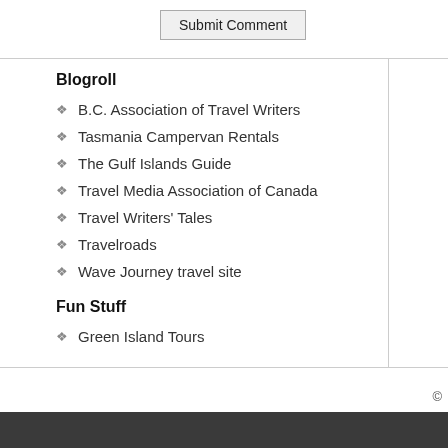Submit Comment
Blogroll
B.C. Association of Travel Writers
Tasmania Campervan Rentals
The Gulf Islands Guide
Travel Media Association of Canada
Travel Writers’ Tales
Travelroads
Wave Journey travel site
Fun Stuff
Green Island Tours
©